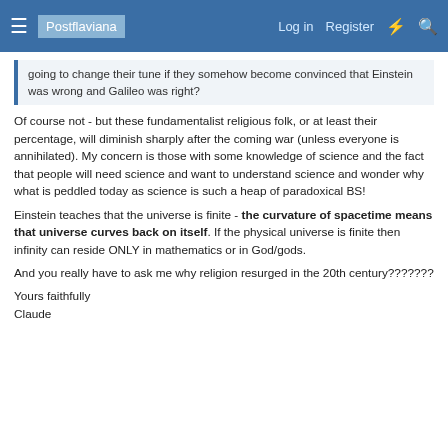Postflaviana  Log in  Register
going to change their tune if they somehow become convinced that Einstein was wrong and Galileo was right?
Of course not - but these fundamentalist religious folk, or at least their percentage, will diminish sharply after the coming war (unless everyone is annihilated). My concern is those with some knowledge of science and the fact that people will need science and want to understand science and wonder why what is peddled today as science is such a heap of paradoxical BS!
Einstein teaches that the universe is finite - the curvature of spacetime means that universe curves back on itself. If the physical universe is finite then infinity can reside ONLY in mathematics or in God/gods.
And you really have to ask me why religion resurged in the 20th century???????
Yours faithfully
Claude